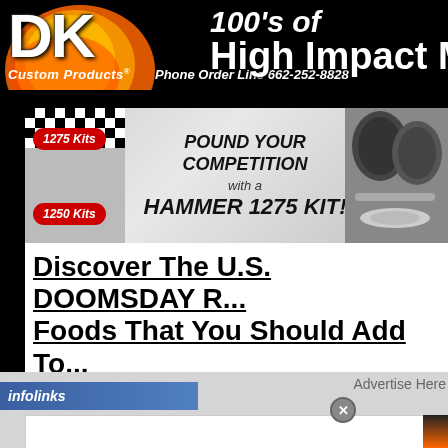[Figure (logo): DK Custom Products logo with fire background, '100's of High Impact Mods' text, and phone order line 662-252-8828]
[Figure (infographic): Advertisement banner: '1275 Kits' and '1250 Kits' red badges with checkered flag graphic, center text 'POUND YOUR COMPETITION with a HAMMER 1275 KIT!', right side shows engine cylinders/parts product photo]
Discover The U.S. DOOMSDAY R... Foods That You Should Add To...
[Figure (other): Infolinks bar and 'Advertise Here' text with close button overlay and modal popup strip at bottom]
Advertise Here